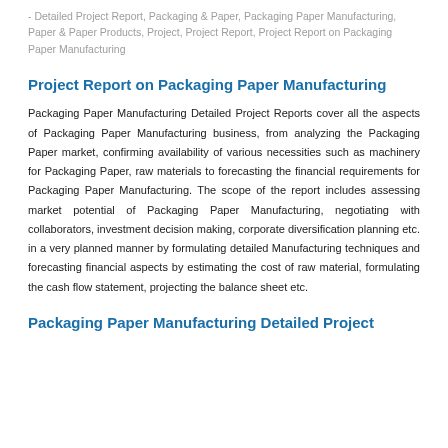- Detailed Project Report, Packaging & Paper, Packaging Paper Manufacturing, Paper & Paper Products, Project, Project Report, Project Report on Packaging Paper Manufacturing
Project Report on Packaging Paper Manufacturing
Packaging Paper Manufacturing Detailed Project Reports cover all the aspects of Packaging Paper Manufacturing business, from analyzing the Packaging Paper market, confirming availability of various necessities such as machinery for Packaging Paper, raw materials to forecasting the financial requirements for Packaging Paper Manufacturing. The scope of the report includes assessing market potential of Packaging Paper Manufacturing, negotiating with collaborators, investment decision making, corporate diversification planning etc. in a very planned manner by formulating detailed Manufacturing techniques and forecasting financial aspects by estimating the cost of raw material, formulating the cash flow statement, projecting the balance sheet etc.
Packaging Paper Manufacturing Detailed Project